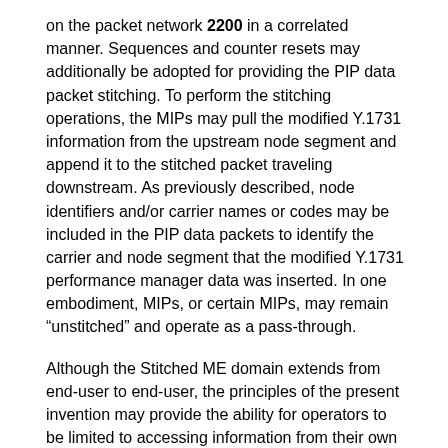on the packet network 2200 in a correlated manner. Sequences and counter resets may additionally be adopted for providing the PIP data packet stitching. To perform the stitching operations, the MIPs may pull the modified Y.1731 information from the upstream node segment and append it to the stitched packet traveling downstream. As previously described, node identifiers and/or carrier names or codes may be included in the PIP data packets to identify the carrier and node segment that the modified Y.1731 performance manager data was inserted. In one embodiment, MIPs, or certain MIPs, may remain “unstitched” and operate as a pass-through.
Although the Stitched ME domain extends from end-user to end-user, the principles of the present invention may provide the ability for operators to be limited to accessing information from their own network or limited information from other service provider networks. Subscribers, similarly, may be limited to having access to their own equipment or a summary of operator information. There may be a number of different techniques used to provide such limited visibility for operators and subscribers, including safeguards built into performance managers at